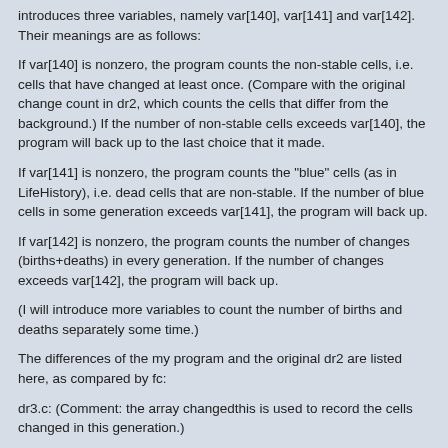introduces three variables, namely var[140], var[141] and var[142]. Their meanings are as follows:
If var[140] is nonzero, the program counts the non-stable cells, i.e. cells that have changed at least once. (Compare with the original change count in dr2, which counts the cells that differ from the background.) If the number of non-stable cells exceeds var[140], the program will back up to the last choice that it made.
If var[141] is nonzero, the program counts the "blue" cells (as in LifeHistory), i.e. dead cells that are non-stable. If the number of blue cells in some generation exceeds var[141], the program will back up.
If var[142] is nonzero, the program counts the number of changes (births+deaths) in every generation. If the number of changes exceeds var[142], the program will back up.
(I will introduce more variables to count the number of births and deaths separately some time.)
The differences of the my program and the original dr2 are listed here, as compared by fc:
dr3.c: (Comment: the array changedthis is used to record the cells changed in this generation.)